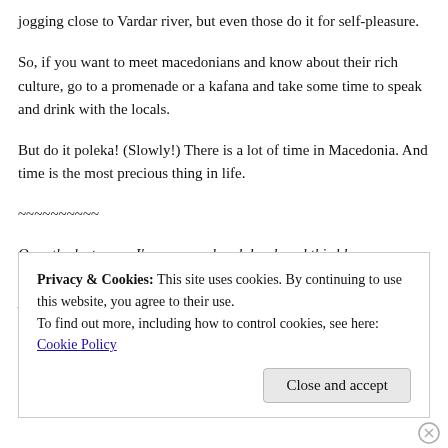jogging close to Vardar river, but even those do it for self-pleasure.
So, if you want to meet macedonians and know about their rich culture, go to a promenade or a kafana and take some time to speak and drink with the locals.
But do it poleka! (Slowly!) There is a lot of time in Macedonia. And time is the most precious thing in life.
~~~~~~~~~~
Over the last years I've managed and developed this blog as a meeting point to connect travelers and bloggers, writers and photographers, you and me.
Privacy & Cookies: This site uses cookies. By continuing to use this website, you agree to their use.
To find out more, including how to control cookies, see here: Cookie Policy
Close and accept